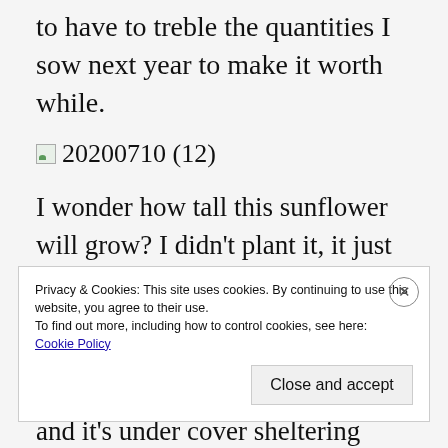to have to treble the quantities I sow next year to make it worth while.
[Figure (photo): Broken image placeholder with label '20200710 (12)']
I wonder how tall this sunflower will grow? I didn't plant it, it just appeared. But it's grown an inch a day since I moved it to this position. Again, this area only receives sun from 8am until 1 pm, and it's under cover sheltering from the wind.
Privacy & Cookies: This site uses cookies. By continuing to use this website, you agree to their use.
To find out more, including how to control cookies, see here: Cookie Policy
Close and accept